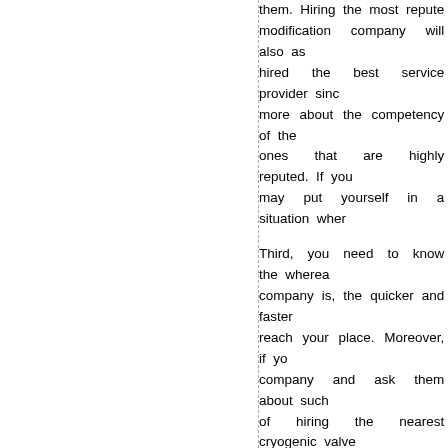them. Hiring the most reputed modification company will also as hired the best service provider sinc more about the competency of the ones that are highly reputed. If you may put yourself in a situation wher
Third, you need to know the wherea company is, the quicker and faster reach your place. Moreover, if yo company and ask them about such of hiring the nearest cryogenic valve
Fourth, you have to know unto whic for you. If the company is recomm particular company may be best fo for the best cryogenic valve modifica
Fifth, you should always check the company that values their custom communicating with them and ask customer service personnel will ar particular cryogenic valve modificati their customers. Surely, there are a
Interesting Research on – Things Yo